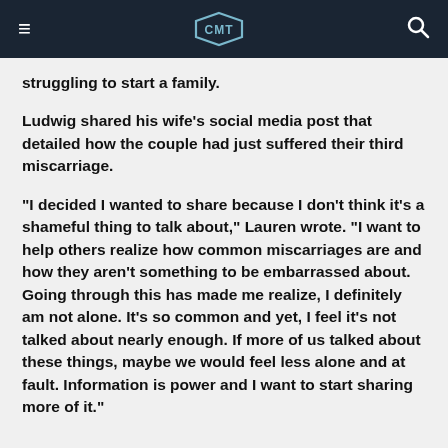CMT
struggling to start a family.
Ludwig shared his wife's social media post that detailed how the couple had just suffered their third miscarriage.
"I decided I wanted to share because I don't think it's a shameful thing to talk about," Lauren wrote. "I want to help others realize how common miscarriages are and how they aren't something to be embarrassed about. Going through this has made me realize, I definitely am not alone. It's so common and yet, I feel it's not talked about nearly enough. If more of us talked about these things, maybe we would feel less alone and at fault. Information is power and I want to start sharing more of it."